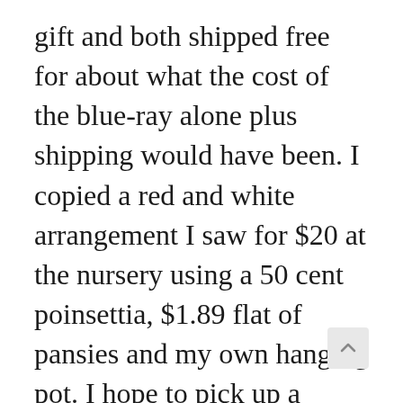gift and both shipped free for about what the cost of the blue-ray alone plus shipping would have been. I copied a red and white arrangement I saw for $20 at the nursery using a 50 cent poinsettia, $1.89 flat of pansies and my own hanging pot. I hope to pick up a spiral ham that is on sale for $1.57 a pound, limit one, and may go back before the sale ends for a second. Some of our grapefruit and tangelos, as well as snack items picked up for good deal, after Halloween candy,